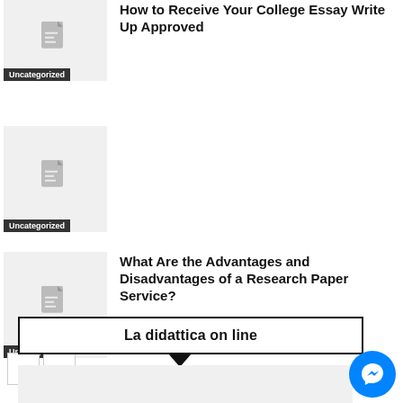[Figure (illustration): Thumbnail placeholder with document icon and Uncategorized label]
How to Receive Your College Essay Write Up Approved
[Figure (illustration): Thumbnail placeholder with document icon and Uncategorized label]
[Figure (illustration): Thumbnail placeholder with document icon and Uncategorized label]
What Are the Advantages and Disadvantages of a Research Paper Service?
< >
La didattica on line
[Figure (illustration): Bottom area placeholder image]